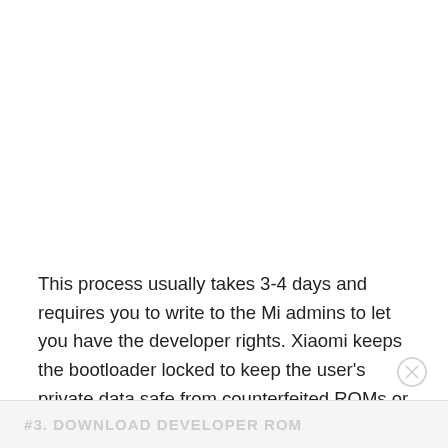This process usually takes 3-4 days and requires you to write to the Mi admins to let you have the developer rights. Xiaomi keeps the bootloader locked to keep the user's private data safe from counterfeited ROMs or devices.
#3. DOWNLOAD DEVELOPER ROM